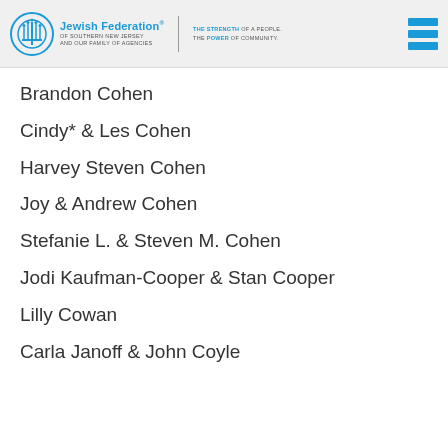Jewish Federation of Southern New Jersey and Our Family of Agencies — The Strength of a People. The Power of Community.
Brandon Cohen
Cindy* & Les Cohen
Harvey Steven Cohen
Joy & Andrew Cohen
Stefanie L. & Steven M. Cohen
Jodi Kaufman-Cooper & Stan Cooper
Lilly Cowan
Carla Janoff & John Coyle